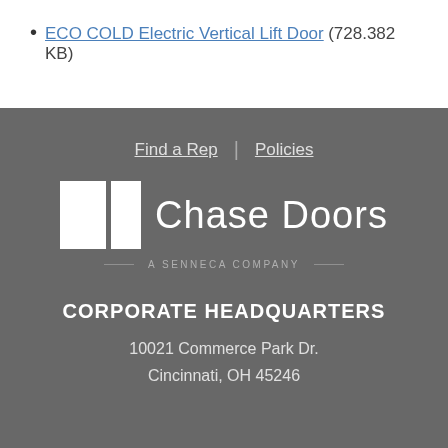ECO COLD Electric Vertical Lift Door (728.382 KB)
Find a Rep | Policies
[Figure (logo): Chase Doors logo with two white door panel icons and text 'Chase Doors', below which reads 'A SENNECA COMPANY']
CORPORATE HEADQUARTERS
10021 Commerce Park Dr.
Cincinnati, OH 45246